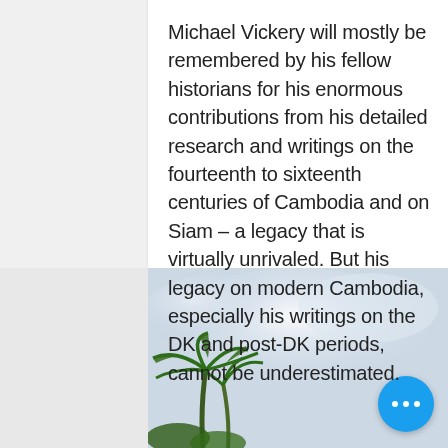Michael Vickery will mostly be remembered by his fellow historians for his enormous contributions from his detailed research and writings on the fourteenth to sixteenth centuries of Cambodia and on Siam – a legacy that is virtually unrivaled. But his legacy on modern Cambodia, especially his writings on the DK and post-DK periods, cannot be underestimated.
[Figure (photo): Sky with clouds and palm tree tops visible at bottom left, with a circular scroll-up button and a blue circular more-options button overlaid on the image.]